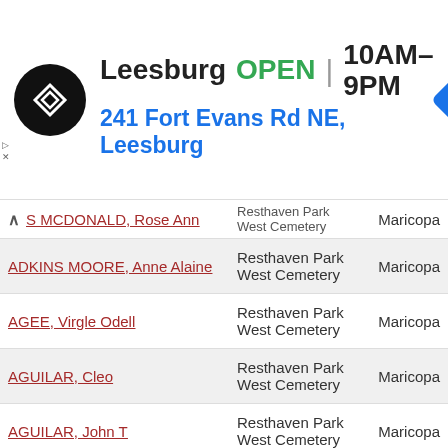[Figure (screenshot): Advertisement banner for a store location: Leesburg OPEN 10AM-9PM, 241 Fort Evans Rd NE, Leesburg, with a circular logo and navigation icon]
| Name | Cemetery | County |
| --- | --- | --- |
| S MCDONALD, Rose Ann | Resthaven Park West Cemetery | Maricopa |
| ADKINS MOORE, Anne Alaine | Resthaven Park West Cemetery | Maricopa |
| AGEE, Virgle Odell | Resthaven Park West Cemetery | Maricopa |
| AGUILAR, Cleo | Resthaven Park West Cemetery | Maricopa |
| AGUILAR, John T | Resthaven Park West Cemetery | Maricopa |
| AGUILERA, Juan Moreno | Resthaven Park West Cemetery | Maricopa |
| AHO MENDEL, Audrey Rosita | Resthaven Park West Cemetery | Maricopa |